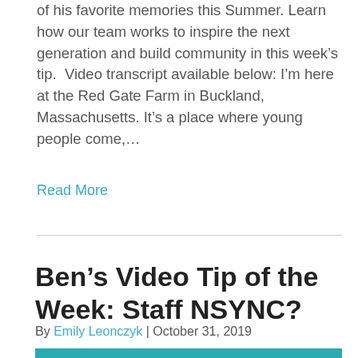of his favorite memories this Summer. Learn how our team works to inspire the next generation and build community in this week's tip.  Video transcript available below: I'm here at the Red Gate Farm in Buckland, Massachusetts. It's a place where young people come,…
Read More
Ben's Video Tip of the Week: Staff NSYNC?
By Emily Leonczyk | October 31, 2019
[Figure (other): Teal/turquoise colored image bar at the bottom of the page]